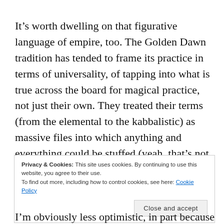It’s worth dwelling on that figurative language of empire, too. The Golden Dawn tradition has tended to frame its practice in terms of universality, of tapping into what is true across the board for magical practice, not just their own. They treated their terms (from the elemental to the kabbalistic) as massive files into which anything and everything could be stuffed (yeah, that’s not imperial). They didn’t have all that much experience
Privacy & Cookies: This site uses cookies. By continuing to use this website, you agree to their use.
To find out more, including how to control cookies, see here: Cookie Policy
[Close and accept]
I’m obviously less optimistic, in part because while the